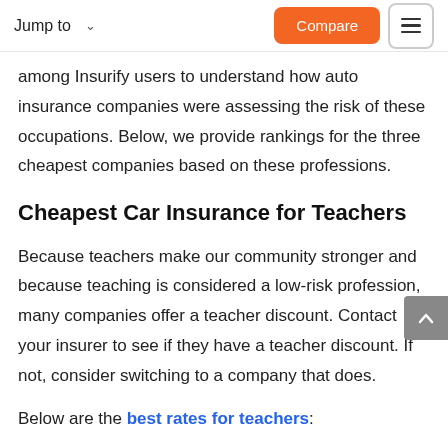Jump to   Compare
among Insurify users to understand how auto insurance companies were assessing the risk of these occupations. Below, we provide rankings for the three cheapest companies based on these professions.
Cheapest Car Insurance for Teachers
Because teachers make our community stronger and because teaching is considered a low-risk profession, many companies offer a teacher discount. Contact your insurer to see if they have a teacher discount. If not, consider switching to a company that does.
Below are the best rates for teachers: